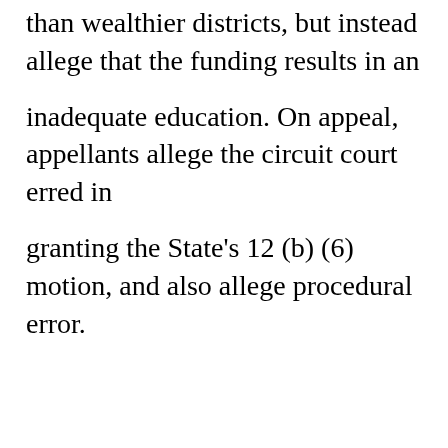than wealthier districts, but instead allege that the funding results in an
inadequate education. On appeal, appellants allege the circuit court erred in
granting the State's 12 (b) (6) motion, and also allege procedural error.
We address the procedural issue first. While the order purports
to decide a Rule 12 (b) (6) motion, it is clear that the judge in fact granted
respondents summary judgment, making